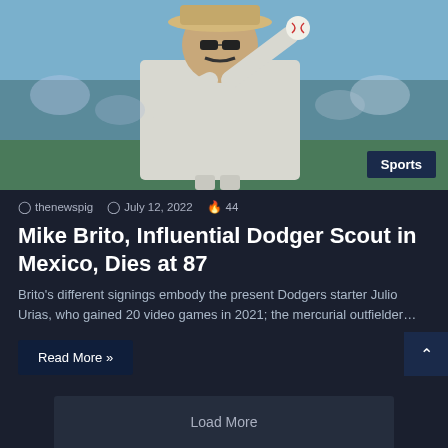[Figure (photo): Man in white short-sleeve shirt, hat, and sunglasses throwing a baseball on a field. Sports badge overlay in bottom right.]
thenewspig   July 12, 2022   44
Mike Brito, Influential Dodger Scout in Mexico, Dies at 87
Brito's different signings embody the present Dodgers starter Julio Urias, who gained 20 video games in 2021; the mercurial outfielder…
Read More »
Load More